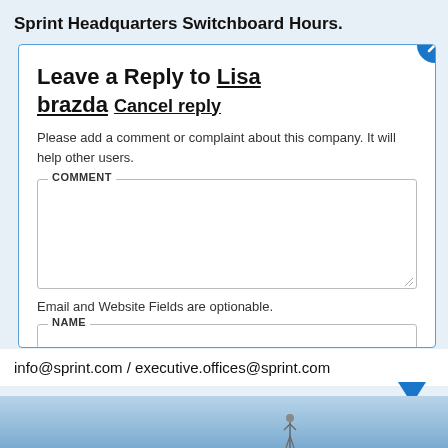Sprint Headquarters Switchboard Hours.
Leave a Reply to Lisa brazda Cancel reply
Please add a comment or complaint about this company. It will help other users.
Email and Website Fields are optionable.
info@sprint.com / executive.offices@sprint.com
[Figure (screenshot): Bottom portion of a webpage showing a light blue background with partial image]